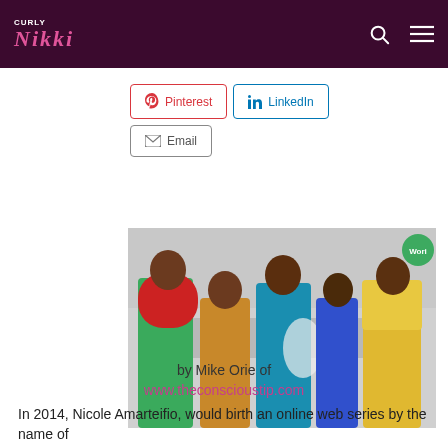CURLY NIKKI
Pinterest
LinkedIn
Email
[Figure (photo): Five women in colorful African-inspired fashion outfits posed together, partially color-popped against a black and white background. A green Wori badge appears in upper right corner.]
by Mike Orie of
www.theconscioustip.com
In 2014, Nicole Amarteifio, would birth an online web series by the name of